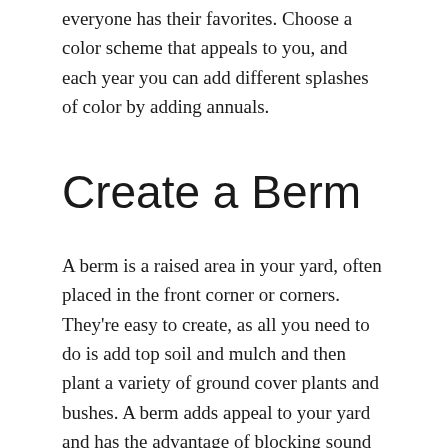everyone has their favorites. Choose a color scheme that appeals to you, and each year you can add different splashes of color by adding annuals.
Create a Berm
A berm is a raised area in your yard, often placed in the front corner or corners. They're easy to create, as all you need to do is add top soil and mulch and then plant a variety of ground cover plants and bushes. A berm adds appeal to your yard and has the advantage of blocking sound and sight from the street. Go to your local nursery and talk to them. They know everything about plants and can advise you if you need help deciding what plants to choose. This is one of the cheapest and simplest ways to